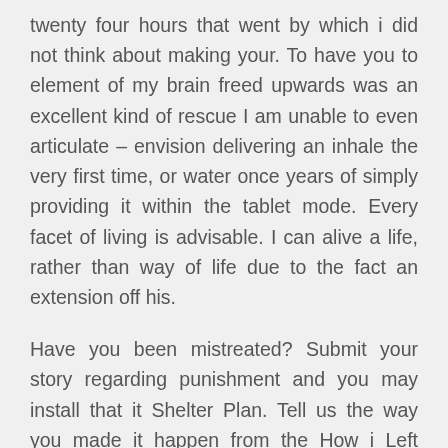twenty four hours that went by which i did not think about making your. To have you to element of my brain freed upwards was an excellent kind of rescue I am unable to even articulate – envision delivering an inhale the very first time, or water once years of simply providing it within the tablet mode. Every facet of living is advisable. I can alive a life, rather than way of life due to the fact an extension off his.
Have you been mistreated? Submit your story regarding punishment and you may install that it Shelter Plan. Tell us the way you made it happen from the How i Left Punishment